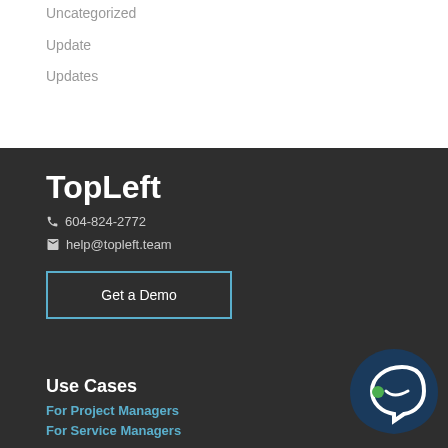Uncategorized
Update
Updates
TopLeft
604-824-2772
help@topleft.team
Get a Demo
Use Cases
For Project Managers
For Service Managers